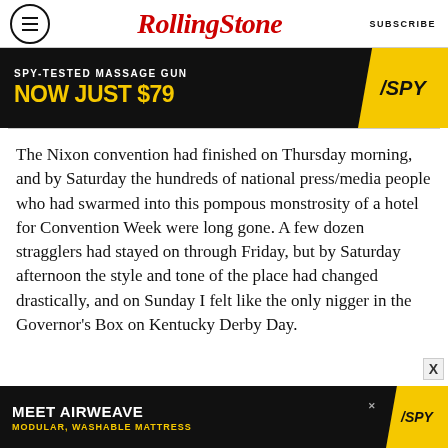Rolling Stone | SUBSCRIBE
[Figure (infographic): SPY-TESTED MASSAGE GUN / NOW JUST $79 advertisement banner with SPY logo on yellow background]
The Nixon convention had finished on Thursday morning, and by Saturday the hundreds of national press/media people who had swarmed into this pompous monstrosity of a hotel for Convention Week were long gone. A few dozen stragglers had stayed on through Friday, but by Saturday afternoon the style and tone of the place had changed drastically, and on Sunday I felt like the only nigger in the Governor's Box on Kentucky Derby Day.
[Figure (infographic): MEET AIRWEAVE / MODULAR, WASHABLE MATTRESS advertisement banner with SPY logo on yellow background]